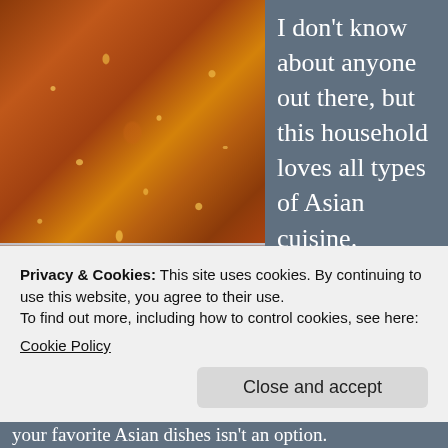[Figure (photo): Close-up photo of a glass jar filled with chili oil and chili seeds/flakes, placed on a surface, viewed from above at an angle.]
I don't know about anyone out there, but this household loves all types of Asian cuisine. Chinese, Japanese, Thai, you name it and we're
Privacy & Cookies: This site uses cookies. By continuing to use this website, you agree to their use.
To find out more, including how to control cookies, see here:
Cookie Policy
Close and accept
your favorite Asian dishes isn't an option.